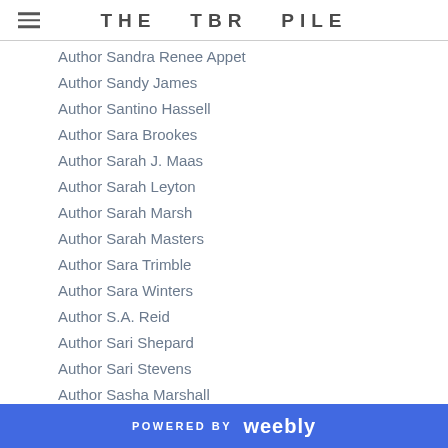THE TBR PILE
Author Sandra Renee Appet
Author Sandy James
Author Santino Hassell
Author Sara Brookes
Author Sarah J. Maas
Author Sarah Leyton
Author Sarah Marsh
Author Sarah Masters
Author Sara Trimble
Author Sara Winters
Author S.A. Reid
Author Sari Shepard
Author Sari Stevens
Author Sasha Marshall
Author S.A. Stovall
Author Scarlet Chastain
Author Scarlet Fox
Author Scarlett Scott
POWERED BY weebly